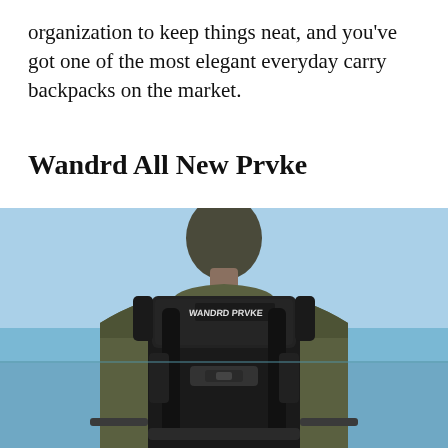organization to keep things neat, and you've got one of the most elegant everyday carry backpacks on the market.
Wandrd All New Prvke
[Figure (photo): A man seen from behind wearing an olive/khaki jacket and carrying a black Wandrd PRVKE roll-top backpack. The backpack has black straps, a roll-top closure with the WANDRD logo stitched in white, and a black buckle clasp. The background shows a blue sky and water.]